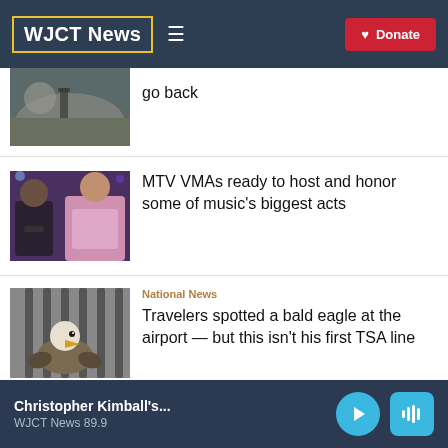WJCT News
[Figure (photo): Partial thumbnail of a moon/space scene]
go back
[Figure (photo): Two music artists at the MTV VMAs]
MTV VMAs ready to host and honor some of music's biggest acts
National News
[Figure (photo): Bald eagle behind metal bars at an airport]
Travelers spotted a bald eagle at the airport — but this isn't his first TSA line
Christopher Kimball's... WJCT News 89.9